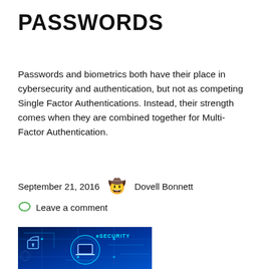PASSWORDS
Passwords and biometrics both have their place in cybersecurity and authentication, but not as competing Single Factor Authentications. Instead, their strength comes when they are combined together for Multi-Factor Authentication.
September 21, 2016   Dovell Bonnett
Leave a comment
[Figure (photo): Blue digital cybersecurity background with circuit board pattern, a padlock icon, a laptop/monitor icon, and the text 'eSECURITY' overlaid in glowing blue tones.]